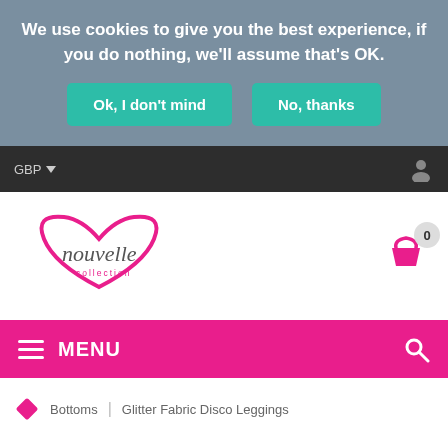We use cookies to give you the best experience, if you do nothing, we'll assume that's OK.
Ok, I don't mind
No, thanks
GBP
[Figure (logo): Nouvelle Collection logo: pink heart outline with cursive 'nouvelle' text and 'collection' below]
0
MENU
Bottoms | Glitter Fabric Disco Leggings